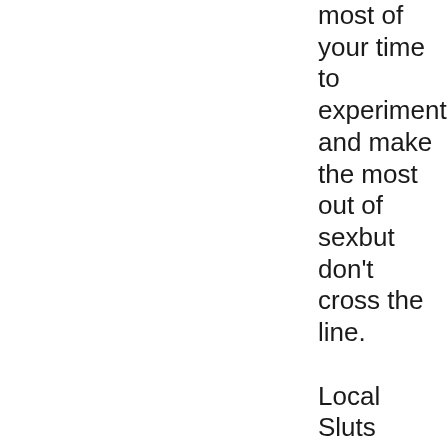most of your time to experiment and make the most out of sexbut don't cross the line.

Local Sluts Nevada Don't get stuck with just one girl, try out a few. The best way to have fun casual sex is to rotate sexual partners frequently. This will keep your